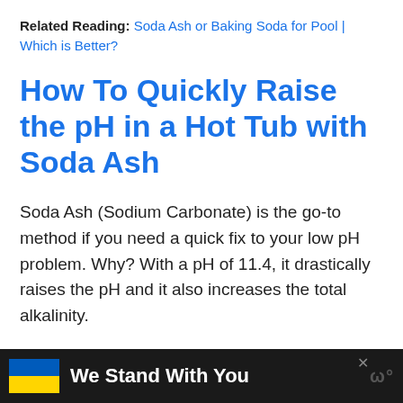Related Reading: Soda Ash or Baking Soda for Pool | Which is Better?
How To Quickly Raise the pH in a Hot Tub with Soda Ash
Soda Ash (Sodium Carbonate) is the go-to method if you need a quick fix to your low pH problem. Why? With a pH of 11.4, it drastically raises the pH and it also increases the total alkalinity.
Now that you have bought your soda ash
[Figure (infographic): Ad banner with Ukrainian flag, text 'We Stand With You', close button, and logo on dark background]